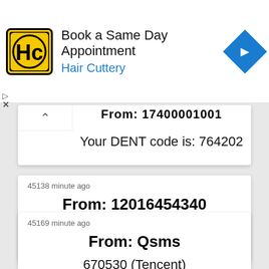[Figure (screenshot): Advertisement banner for Hair Cuttery showing logo, 'Book a Same Day Appointment' text, and navigation icon]
From: 17400001001
Your DENT code is: 764202
45138 minute ago
From: 12016454340
Your DENT code is: 512953
45169 minute ago
From: Qsms
670530 (Tencent)